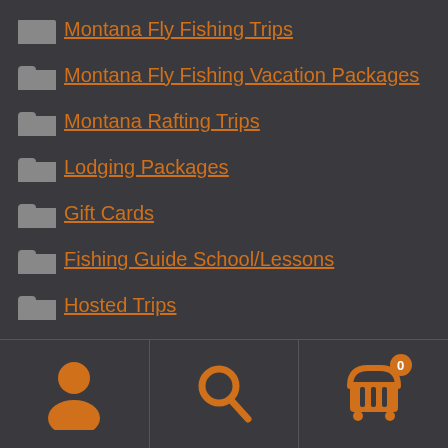Montana Fly Fishing Trips
Montana Fly Fishing Vacation Packages
Montana Rafting Trips
Lodging Packages
Gift Cards
Fishing Guide School/Lessons
Hosted Trips
Logo Merchandise
GET YOUR TRIP INSURANCE HERE
[Figure (infographic): Bottom navigation bar with three icons: person/account icon, search/magnifying glass icon, and shopping cart icon with badge showing 0]